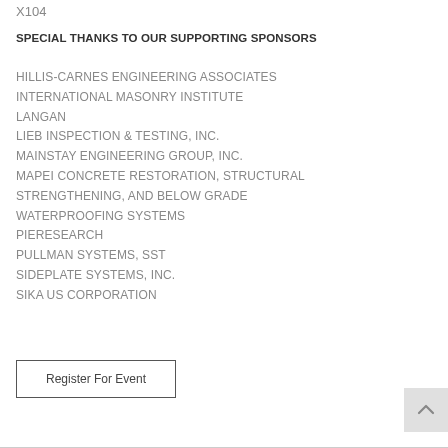X104
SPECIAL THANKS TO OUR SUPPORTING SPONSORS
HILLIS-CARNES ENGINEERING ASSOCIATES
INTERNATIONAL MASONRY INSTITUTE
LANGAN
LIEB INSPECTION & TESTING, INC.
MAINSTAY ENGINEERING GROUP, INC.
MAPEI CONCRETE RESTORATION, STRUCTURAL STRENGTHENING,  AND BELOW GRADE WATERPROOFING SYSTEMS
PIERESEARCH
PULLMAN SYSTEMS, SST
SIDEPLATE SYSTEMS, INC.
SIKA US CORPORATION
Register For Event